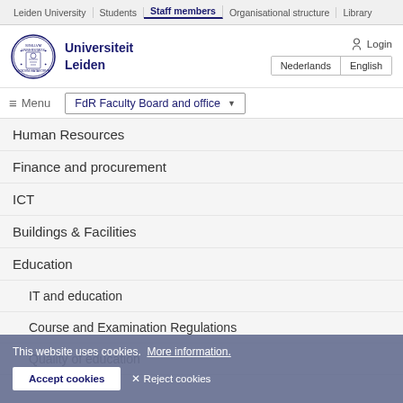Leiden University | Students | Staff members | Organisational structure | Library
[Figure (logo): Leiden University circular seal/logo in dark blue]
Universiteit Leiden
Login
Nederlands | English
Menu  FdR Faculty Board and office
Human Resources
Finance and procurement
ICT
Buildings & Facilities
Education
IT and education
Course and Examination Regulations
Quality of education
This website uses cookies.  More information.
Accept cookies
✕ Reject cookies